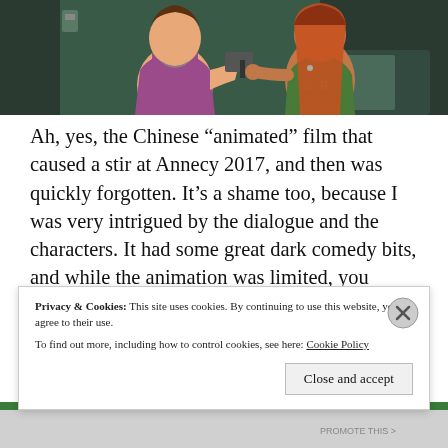[Figure (illustration): Animated scene showing two female characters in a room — one in a purple tank top holding a cleaver, one in a green shirt with long red hair]
Ah, yes, the Chinese “animated” film that caused a stir at Annecy 2017, and then was quickly forgotten. It’s a shame too, because I was very intrigued by the dialogue and the characters. It had some great dark comedy bits, and while the animation was limited, you
Privacy & Cookies: This site uses cookies. By continuing to use this website, you agree to their use.
To find out more, including how to control cookies, see here: Cookie Policy
Close and accept